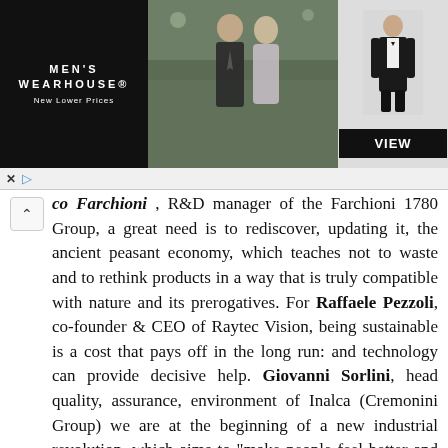[Figure (screenshot): Men's Wearhouse advertisement banner showing a couple in formal wear and a man in a tuxedo with a VIEW button]
co Farchioni, R&D manager of the Farchioni 1780 Group, a great need is to rediscover, updating it, the ancient peasant economy, which teaches not to waste and to rethink products in a way that is truly compatible with nature and its prerogatives. For Raffaele Pezzoli, co-founder & CEO of Raytec Vision, being sustainable is a cost that pays off in the long run: and technology can provide decisive help. Giovanni Sorlini, head quality, assurance, environment of Inalca (Cremonini Group) we are at the beginning of a new industrial revolution, which aims to "make people feel better and must have" its own grammar, its metric rules and numbers that make it possible to counteract easy narratives.
"We believe that consumers are asking brands to commit themselves seriously and not to betray",